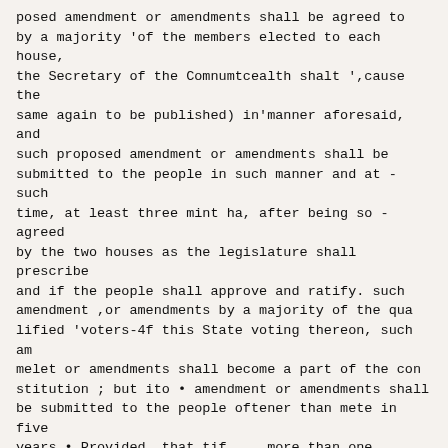posed amendment or amendments shall be agreed to by a majority 'of the members elected to each house, the Secretary of the Comnumtcealth shalt ',cause the same again to be published) in'manner aforesaid, and such proposed amendment or amendments shall be submitted to the people in such manner and at - such time, at least three mint ha, after being so -agreed by the two houses as the legislature shall prescribe and if the people shall approve and ratify. such amendment ,or amendments by a majority of the qua lified 'voters-4f this State voting thereon, such am melet or amendments shall become a part of the con stitution ; but ito • amendment or amendments shall be submitted to the people oftener than mete in five years • Provided, that tif . . more than one amendme be sub mitted, they shall be submitted in such manne and form, that the people may rote for or against -Och amendment separately and distinctly.-
SCHEDULE
That no inconvenience may arise from the altera tions and amendments in the Constitution of this CoMmonwealth, and in order to carry the same into complete operation, it is hereby declared and ordain ed, That,
Section 11. [further text continues below]